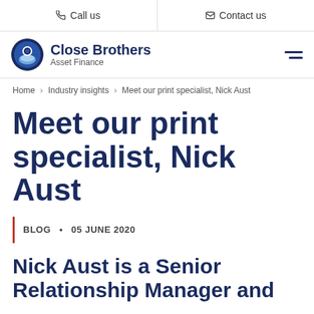Call us | Contact us
[Figure (logo): Close Brothers Asset Finance logo with circular blue/white icon and bold navy text]
Home > Industry insights > Meet our print specialist, Nick Aust
Meet our print specialist, Nick Aust
BLOG • 05 JUNE 2020
Nick Aust is a Senior Relationship Manager and